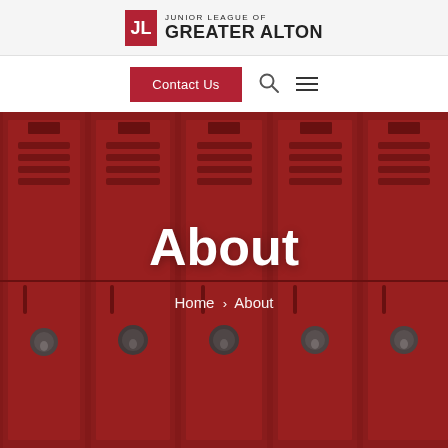JUNIOR LEAGUE OF GREATER ALTON
[Figure (screenshot): Navigation bar with red Contact Us button, search icon, and hamburger menu icon]
[Figure (photo): Red metal school lockers with padlocks, used as hero background image]
About
Home > About